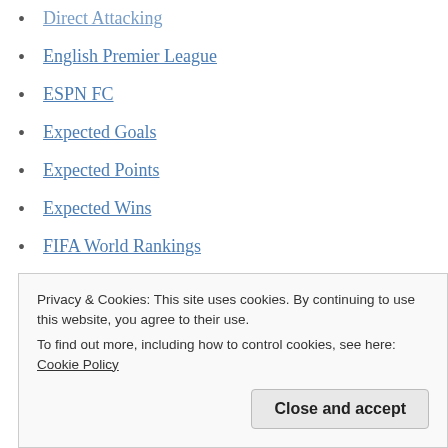Direct Attacking
English Premier League
ESPN FC
Expected Goals
Expected Points
Expected Wins
FIFA World Rankings
Fouls in the Defending Third
Gio Savarese
Gregg Berhalter
Hurried Passes
La Liga
Privacy & Cookies: This site uses cookies. By continuing to use this website, you agree to their use. To find out more, including how to control cookies, see here: Cookie Policy
Close and accept